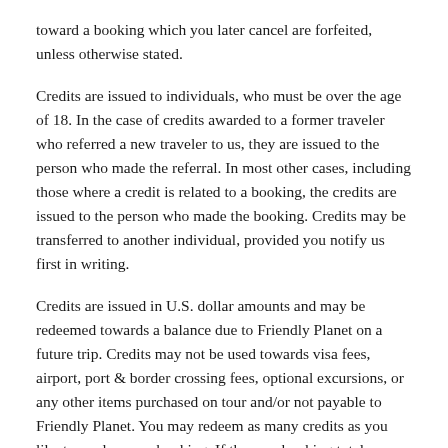toward a booking which you later cancel are forfeited, unless otherwise stated.
Credits are issued to individuals, who must be over the age of 18. In the case of credits awarded to a former traveler who referred a new traveler to us, they are issued to the person who made the referral. In most other cases, including those where a credit is related to a booking, the credits are issued to the person who made the booking. Credits may be transferred to another individual, provided you notify us first in writing.
Credits are issued in U.S. dollar amounts and may be redeemed towards a balance due to Friendly Planet on a future trip. Credits may not be used towards visa fees, airport, port & border crossing fees, optional excursions, or any other items purchased on tour and/or not payable to Friendly Planet. You may redeem as many credits as you like towards a new booking. If the new booking totals more than the value of your redeemed credits, you are responsible for paying the difference by the final payment due date. Credits